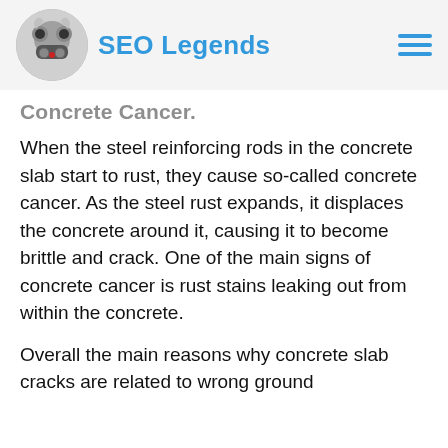SEO Legends
Concrete Cancer.
When the steel reinforcing rods in the concrete slab start to rust, they cause so-called concrete cancer. As the steel rust expands, it displaces the concrete around it, causing it to become brittle and crack. One of the main signs of concrete cancer is rust stains leaking out from within the concrete.
Overall the main reasons why concrete slab cracks are related to wrong ground